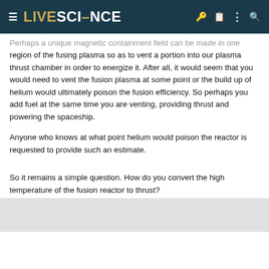LIVESCIENCE
Perhaps a unique magnetic containment field can be made in one region of the fusing plasma so as to vent a portion into our plasma thrust chamber in order to energize it. After all, it would seem that you would need to vent the fusion plasma at some point or the build up of helium would ultimately poison the fusion efficiency. So perhaps you add fuel at the same time you are venting, providing thrust and powering the spaceship.
Anyone who knows at what point helium would poison the reactor is requested to provide such an estimate.
So it remains a simple question. How do you convert the high temperature of the fusion reactor to thrust?